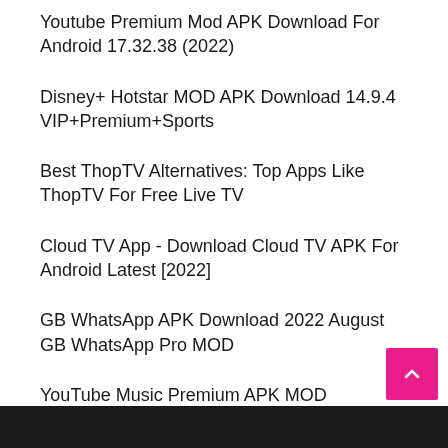Youtube Premium Mod APK Download For Android 17.32.38 (2022)
Disney+ Hotstar MOD APK Download 14.9.4 VIP+Premium+Sports
Best ThopTV Alternatives: Top Apps Like ThopTV For Free Live TV
Cloud TV App - Download Cloud TV APK For Android Latest [2022]
GB WhatsApp APK Download 2022 August GB WhatsApp Pro MOD
YouTube Music Premium APK MOD Download 5.17.51 (No Root 2022)